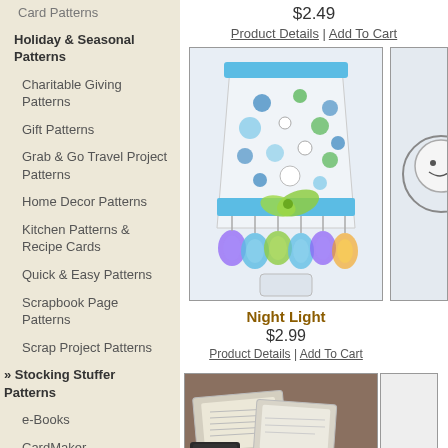Card Patterns
Holiday & Seasonal Patterns
Charitable Giving Patterns
Gift Patterns
Grab & Go Travel Project Patterns
Home Decor Patterns
Kitchen Patterns & Recipe Cards
Quick & Easy Patterns
Scrapbook Page Patterns
Scrap Project Patterns
» Stocking Stuffer Patterns
e-Books
CardMaker
Crochet
Knitting
Quilting
Sewing
Plastic Canvas
Online Classes
Cross-Stitch
$2.49
Product Details | Add To Cart
[Figure (photo): Night light lampshade decorated with colorful buttons and dots in blue, green, and purple tones]
Night Light
$2.99
Product Details | Add To Cart
[Figure (photo): Partial view of another product — appears to show a circular/smiley icon on right edge]
[Figure (photo): Bottom product image showing fabric or paper craft items on a dark background]